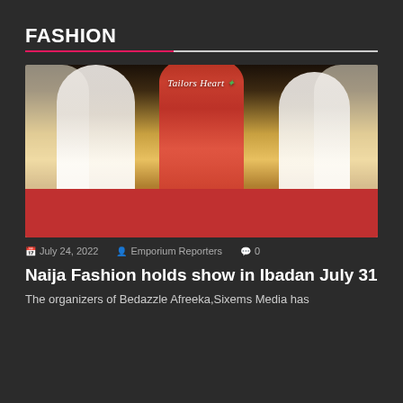FASHION
[Figure (photo): Fashion show photo featuring three models on a runway. Center model wears a large red gown, flanked by two models in white gowns. Background shows 'Tailor's Heart' branding with draping curtains and warm stage lighting.]
July 24, 2022  Emporium Reporters  0
Naija Fashion holds show in Ibadan July 31
The organizers of Bedazzle Afreeka,Sixems Media has